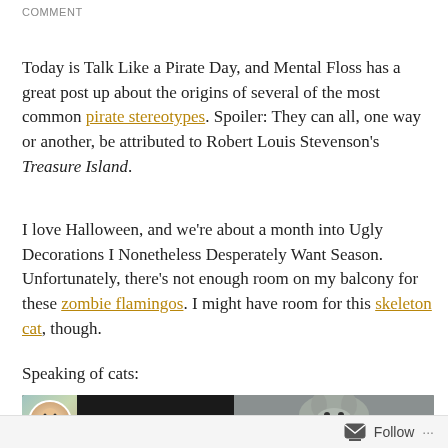COMMENT
Today is Talk Like a Pirate Day, and Mental Floss has a great post up about the origins of several of the most common pirate stereotypes. Spoiler: They can all, one way or another, be attributed to Robert Louis Stevenson's Treasure Island.
I love Halloween, and we're about a month into Ugly Decorations I Nonetheless Desperately Want Season. Unfortunately, there's not enough room on my balcony for these zombie flamingos. I might have room for this skeleton cat, though.
Speaking of cats:
[Figure (screenshot): YouTube video thumbnail showing 'Cats vs Zombies' with a game icon on the left and a cat photo on the right, dark background]
Follow ...